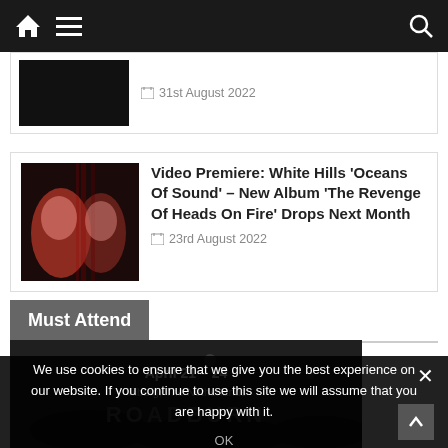Navigation bar with home, menu, and search icons
31st August 2022
Video Premiere: White Hills ‘Oceans Of Sound’ – New Album ‘The Revenge Of Heads On Fire’ Drops Next Month
23rd August 2022
Must Attend
April 21 – 24
Tilburg, The Netherlands
We use cookies to ensure that we give you the best experience on our website. If you continue to use this site we will assume that you are happy with it.
OK